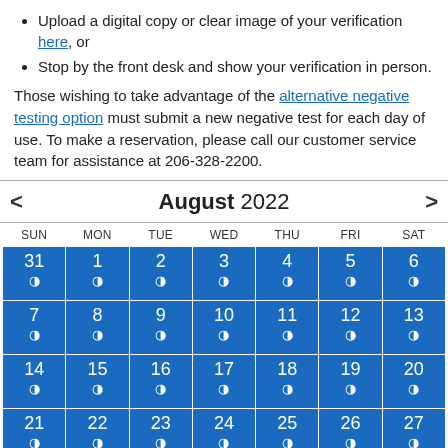Upload a digital copy or clear image of your verification here, or
Stop by the front desk and show your verification in person.
Those wishing to take advantage of the alternative negative testing option must submit a new negative test for each day of use. To make a reservation, please call our customer service team for assistance at 206-328-2200.
| SUN | MON | TUE | WED | THU | FRI | SAT |
| --- | --- | --- | --- | --- | --- | --- |
| 31 ◑ | 1 ◑ | 2 ◑ | 3 ◑ | 4 ◑ | 5 ◑ | 6 ◑ |
| 7 ◑ | 8 ◑ | 9 ◑ | 10 ◑ | 11 ◑ | 12 ◑ | 13 ◑ |
| 14 ◑ | 15 ◑ | 16 ◑ | 17 ◑ | 18 ◑ | 19 ◑ | 20 ◑ |
| 21 ◑ | 22 ◑ | 23 ◑ | 24 ◑ | 25 ◑ | 26 ◑ | 27 ◑ |